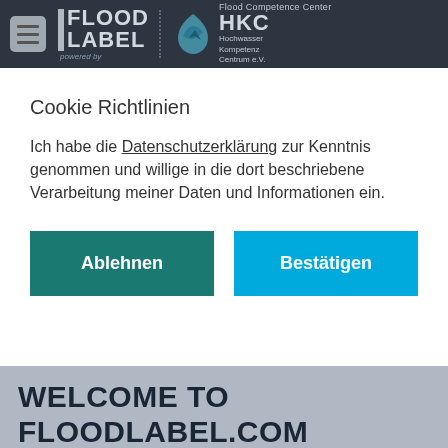[Figure (logo): FloodLabel website header with navigation menu button, FloodLabel logo, and HKC Flood Competence Center logo on dark background]
Cookie Richtlinien
Ich habe die Datenschutzerklärung zur Kenntnis genommen und willige in die dort beschriebene Verarbeitung meiner Daten und Informationen ein.
Ablehnen
Bestätigen
WELCOME TO FLOODLABEL.COM